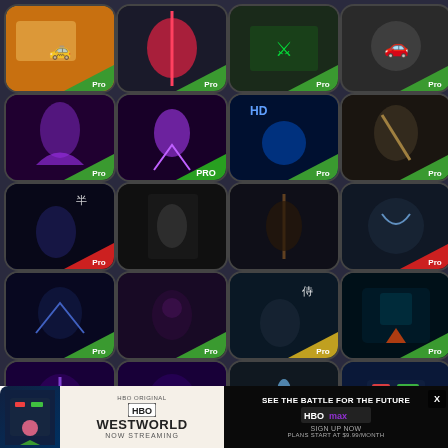[Figure (screenshot): Grid of mobile game app icons, all featuring 'Pro' badge versions of ninja, warrior, robot fighting games. 4x5 grid layout showing 20 app icons with various dark-themed game artwork.]
[Figure (infographic): Advertisement banner for HBO's Westworld 'Now Streaming' on the left, and HBO Max 'See the Battle for the Future - Sign Up Now - Plans Start at $9.99/month' on the right dark background.]